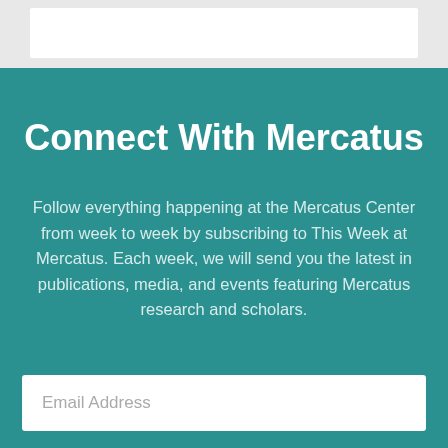Connect With Mercatus
Follow everything happening at the Mercatus Center from week to week by subscribing to This Week at Mercatus. Each week, we will send you the latest in publications, media, and events featuring Mercatus research and scholars.
Email Address